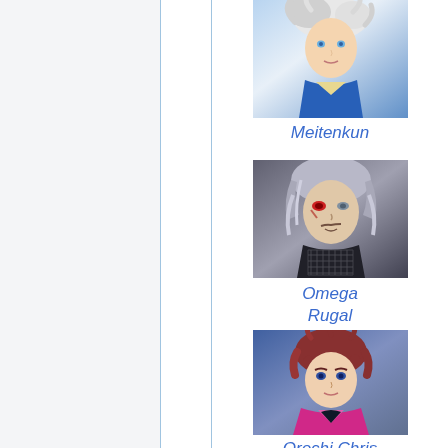[Figure (illustration): Character portrait of Meitenkun — white-haired anime-style fighter in blue costume]
Meitenkun
[Figure (illustration): Character portrait of Omega Rugal — silver-haired villain with red eye and dark outfit]
Omega Rugal
[Figure (illustration): Character portrait of Orochi Chris — young male fighter with reddish-brown hair and pink/magenta jacket]
Orochi Chris